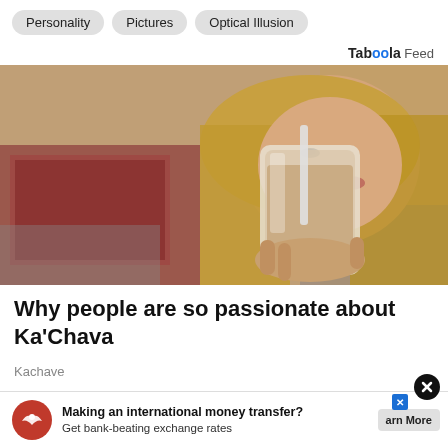Personality | Pictures | Optical Illusion
Taboola Feed
[Figure (photo): Young woman with long blonde hair drinking from a large mason jar with a straw, lying down with colorful pillows in background]
Why people are so passionate about Ka'Chava
Kachava
[Figure (infographic): Advertisement banner: Making an international money transfer? Get bank-beating exchange rates. With eagle logo and Learn More button. X close button.]